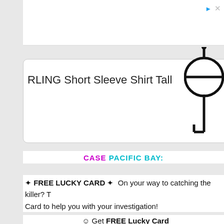[Figure (screenshot): Top advertisement bar, white background, partially visible]
RLING Short Sleeve Shirt Tall
OPEN
[Figure (illustration): Heart/umbrella icon on right side]
CASE PACIFIC BAY:
✦ FREE LUCKY CARD ✦  On your way to catching the killer? T
Card to help you with your investigation!
☺ Get FREE Lucky Card here: http://apps.facebook.com/pacificbay/fanpage_re
fanpage=1&reward_key=tYxdIqu81p6D4qe7
[Figure (illustration): Criminal Case Pacific Bay game image with animated character and playing cards]